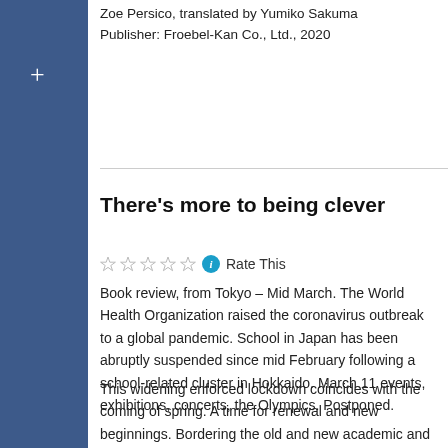Zoe Persico, translated by Yumiko Sakuma
Publisher: Froebel-Kan Co., Ltd., 2020
There's more to being clever
Rate This
Book review, from Tokyo – Mid March. The World Health Organization raised the coronavirus outbreak to a global pandemic. School in Japan has been abruptly suspended since mid February following a school-related cluster in Hokkaido. March 11 events, exhibitions, concerts, the Olympics. Postponed.
This widening enforced lockdown coincides with the coming of spring. A time for renewal and new beginnings. Bordering the old and new academic and business years in Japan, this period is also marked by its famed sakura cherry season. You can read the first chapter in last week’s